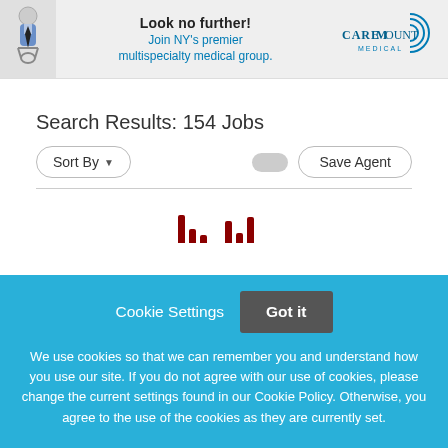[Figure (screenshot): Advertisement banner for CareMount Medical showing a doctor icon, headline 'Look no further! Join NY's premier multispecialty medical group.' and CareMount Medical logo]
Search Results: 154 Jobs
Sort By ▾
Save Agent
[Figure (screenshot): Partial job listing results with dark red bar chart indicators visible at the bottom]
Cookie Settings   Got it
We use cookies so that we can remember you and understand how you use our site. If you do not agree with our use of cookies, please change the current settings found in our Cookie Policy. Otherwise, you agree to the use of the cookies as they are currently set.